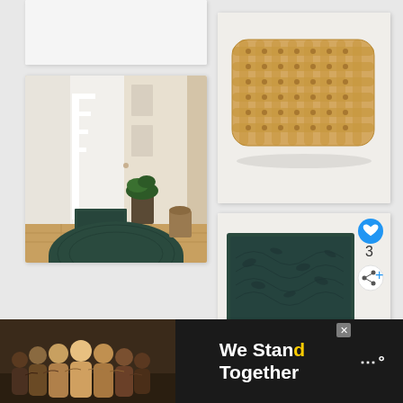[Figure (photo): White card partially visible at top left, showing partial product image (white/cropped out)]
[Figure (photo): Dark teal/green half-round door mat placed at front door entrance with wood floor and potted plant]
[Figure (photo): Woven rope/coir doormat in natural tan color with basket-weave pattern on white background]
[Figure (photo): Dark teal textured rubber door mat with leaf/botanical pattern, shown with social media UI overlays including heart button (3 likes), share button, and What's Next panel showing Small Front Porch...]
[Figure (photo): Ad banner: We Stand Together advertisement with group of people and W+ logo, with close X button]